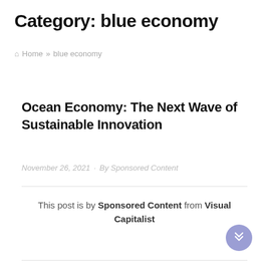Category: blue economy
🏠 Home » blue economy
Ocean Economy: The Next Wave of Sustainable Innovation
November 26, 2021 · By Sponsored Content
This post is by Sponsored Content from Visual Capitalist